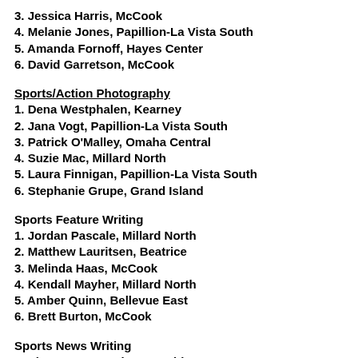3. Jessica Harris, McCook
4. Melanie Jones, Papillion-La Vista South
5. Amanda Fornoff, Hayes Center
6. David Garretson, McCook
Sports/Action Photography
1. Dena Westphalen, Kearney
2. Jana Vogt, Papillion-La Vista South
3. Patrick O'Malley, Omaha Central
4. Suzie Mac, Millard North
5. Laura Finnigan, Papillion-La Vista South
6. Stephanie Grupe, Grand Island
Sports Feature Writing
1. Jordan Pascale, Millard North
2. Matthew Lauritsen, Beatrice
3. Melinda Haas, McCook
4. Kendall Mayher, Millard North
5. Amber Quinn, Bellevue East
6. Brett Burton, McCook
Sports News Writing
1. Sky Rotert, Omaha Westside
2. Ashley Hoesing, Omaha Marian
3. Wayne Martino, Omaha North